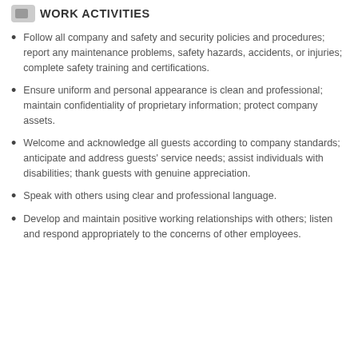WORK ACTIVITIES
Follow all company and safety and security policies and procedures; report any maintenance problems, safety hazards, accidents, or injuries; complete safety training and certifications.
Ensure uniform and personal appearance is clean and professional; maintain confidentiality of proprietary information; protect company assets.
Welcome and acknowledge all guests according to company standards; anticipate and address guests' service needs; assist individuals with disabilities; thank guests with genuine appreciation.
Speak with others using clear and professional language.
Develop and maintain positive working relationships with others; listen and respond appropriately to the concerns of other employees.